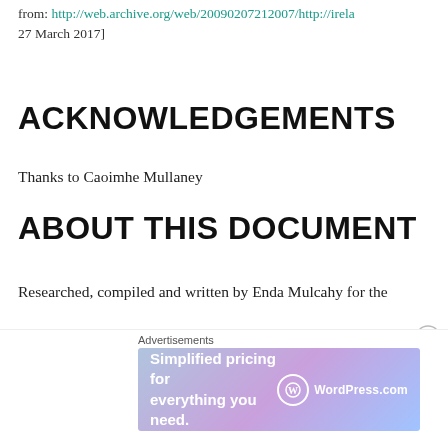from: http://web.archive.org/web/20090207212007/http://irela… 27 March 2017]
ACKNOWLEDGEMENTS
Thanks to Caoimhe Mullaney
ABOUT THIS DOCUMENT
Researched, compiled and written by Enda Mulcahy for the

Eirball | Irish North American and World Sports Archive

Last Updated: 26 May 2021

(c) Copyright Enda Mulcahy and Eirball 2021
Advertisements
Simplified pricing for everything you need. WordPress.com